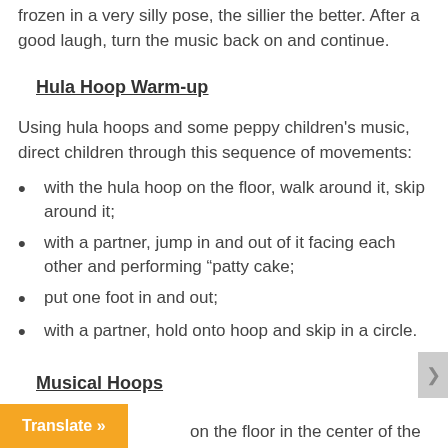frozen in a very silly pose, the sillier the better. After a good laugh, turn the music back on and continue.
Hula Hoop Warm-up
Using hula hoops and some peppy children's music, direct children through this sequence of movements:
with the hula hoop on the floor, walk around it, skip around it;
with a partner, jump in and out of it facing each other and performing “patty cake;
put one foot in and out;
with a partner, hold onto hoop and skip in a circle.
Musical Hoops
on the floor in the center of the